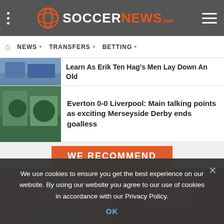SOCCERNEWS.com
NEWS   TRANSFERS   BETTING
Learn As Erik Ten Hag's Men Lay Down An Old
Everton 0-0 Liverpool: Main talking points as exciting Merseyside Derby ends goalless
WE RECOMMEND
Could Liverpool have finally
Wayne Rooney should take
We use cookies to ensure you get the best experience on our website. By using our website you agree to our use of cookies in accordance with our Privacy Policy.
OK